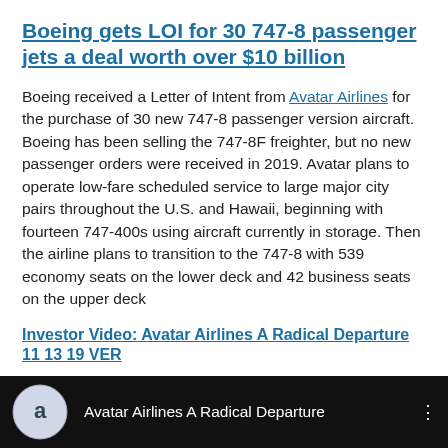Boeing gets LOI for 30 747-8 passenger jets a deal worth over $10 billion
Boeing received a Letter of Intent from Avatar Airlines for the purchase of 30 new 747-8 passenger version aircraft. Boeing has been selling the 747-8F freighter, but no new passenger orders were received in 2019. Avatar plans to operate low-fare scheduled service to large major city pairs throughout the U.S. and Hawaii, beginning with fourteen 747-400s using aircraft currently in storage. Then the airline plans to transition to the 747-8 with 539 economy seats on the lower deck and 42 business seats on the upper deck
Investor Video: Avatar Airlines A Radical Departure 11 13 19 VER
[Figure (screenshot): Video thumbnail showing Avatar Airlines A Radical Departure video with airline logo on black background]